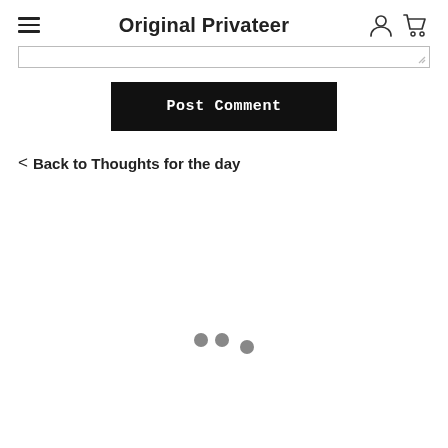Original Privateer
[Figure (screenshot): Comment text area input box with resize handle in bottom right corner]
[Figure (screenshot): Post Comment button — black rectangle with white bold monospace text]
< Back to Thoughts for the day
[Figure (other): Loading animation — three dots in a triangular/diagonal arrangement]